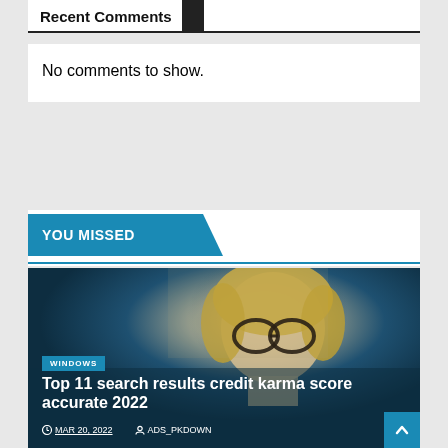Recent Comments
No comments to show.
YOU MISSED
[Figure (photo): Blonde woman with glasses smiling, dark blue background, article card thumbnail]
WINDOWS
Top 11 search results credit karma score accurate 2022
MAR 20, 2022   ADS_PKDOWN